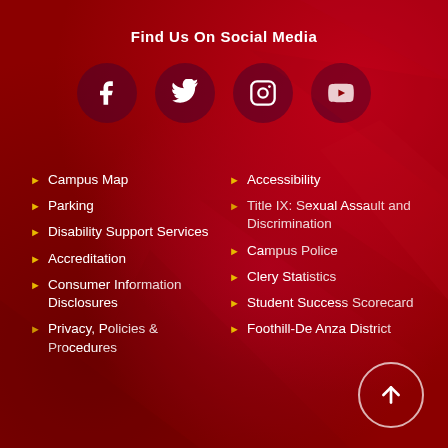Find Us On Social Media
[Figure (infographic): Four social media icon circles: Facebook, Twitter, Instagram, YouTube]
Campus Map
Parking
Disability Support Services
Accreditation
Consumer Information Disclosures
Privacy, Policies & Procedures
Accessibility
Title IX: Sexual Assault and Discrimination
Campus Police
Clery Statistics
Student Success Scorecard
Foothill-De Anza District